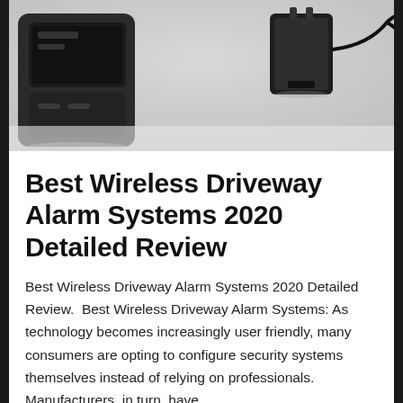[Figure (photo): Photo of wireless driveway alarm system components: a dark/black alarm base unit on the left and a black power adapter/charger with cord on the right, on a light gray/white background.]
Best Wireless Driveway Alarm Systems 2020 Detailed Review
Best Wireless Driveway Alarm Systems 2020 Detailed Review.  Best Wireless Driveway Alarm Systems: As technology becomes increasingly user friendly, many consumers are opting to configure security systems themselves instead of relying on professionals. Manufacturers, in turn, have